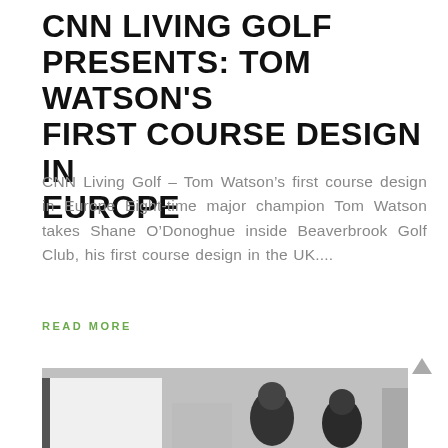CNN LIVING GOLF PRESENTS: TOM WATSON'S FIRST COURSE DESIGN IN EUROPE
CNN Living Golf – Tom Watson's first course design in Europe Eight-time major champion Tom Watson takes Shane O'Donoghue inside Beaverbrook Golf Club, his first course design in the UK....
READ MORE
[Figure (photo): Partial view of people at a golf event or course, grayscale, bottom of page]